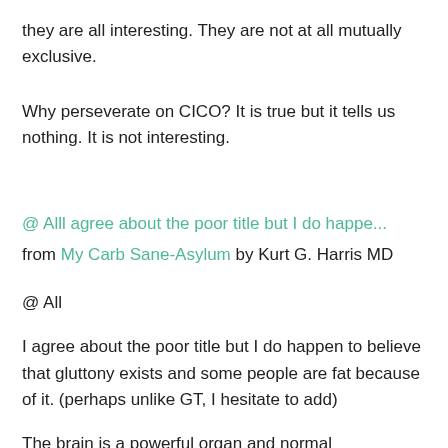they are all interesting. They are not at all mutually exclusive.
Why perseverate on CICO? It is true but it tells us nothing. It is not interesting.
@ Alll agree about the poor title but I do happe... from My Carb Sane-Asylum by Kurt G. Harris MD
@ All
I agree about the poor title but I do happen to believe that gluttony exists and some people are fat because of it. (perhaps unlike GT, I hesitate to add)
The brain is a powerful organ and normal homeostasis can be overriden. Even when there is no organic pathology. Think of Hollywood actors like DeNiro in raging bull or Christian Bale